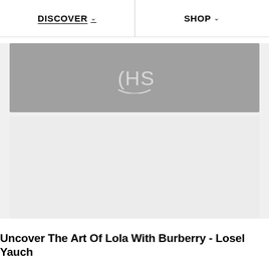DISCOVER  SHOP
[Figure (logo): Gray banner with HS logo (HappySocks or similar brand logo) centered on a medium gray background]
[Figure (photo): Light gray placeholder image area for an article image]
Uncover The Art Of Lola With Burberry - Losel Yauch